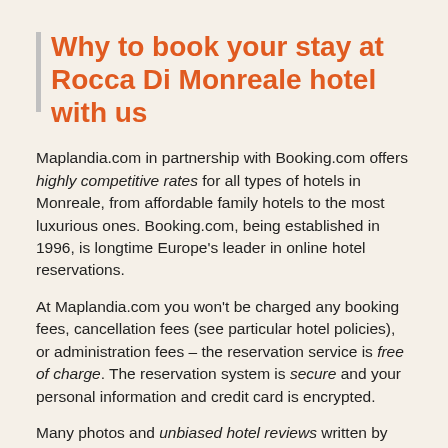Why to book your stay at Rocca Di Monreale hotel with us
Maplandia.com in partnership with Booking.com offers highly competitive rates for all types of hotels in Monreale, from affordable family hotels to the most luxurious ones. Booking.com, being established in 1996, is longtime Europe's leader in online hotel reservations.
At Maplandia.com you won't be charged any booking fees, cancellation fees (see particular hotel policies), or administration fees – the reservation service is free of charge. The reservation system is secure and your personal information and credit card is encrypted.
Many photos and unbiased hotel reviews written by real guests are provided to help you make your booking decision. Luxury hotels (including 5 star hotels and 4 star hotels) and cheap Monreale hotels (with best discount rates and up-to-date hotel deals) are both available in separate lists. Always bear in mind that with Maplandia.com and Booking.com the best price is